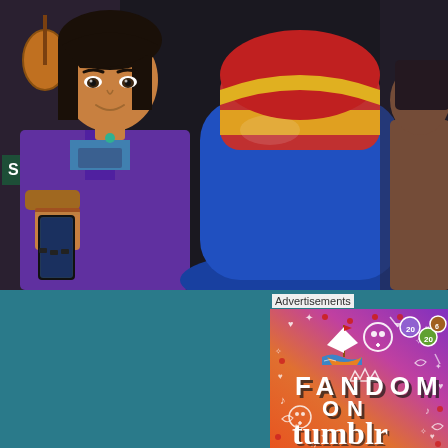[Figure (photo): Scene from a TV show or movie: a young woman with dark hair wearing a purple jacket holds a smartphone. In the background there is a colorful large inflatable object in red, yellow, and blue. Another person is partially visible on the right. A sign reading 'SMUSHER' is partially visible on the left.]
Advertisements
[Figure (photo): Fandom on Tumblr advertisement banner with colorful gradient background (orange to purple), featuring a cartoon sailboat with a flag, the text 'FANDOM ON tumblr' in large bold letters, and various doodle icons including skulls, dice, music notes, hearts, arrows, and sparkles scattered throughout.]